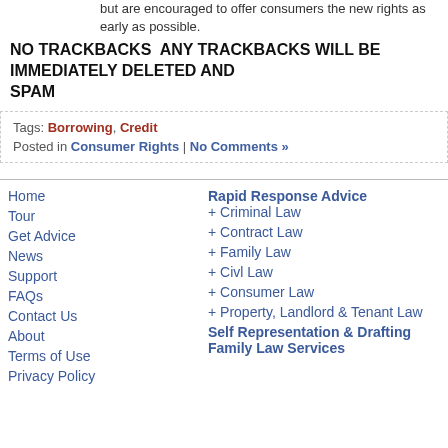8. Lenders will have from 30 April 2010 until 31 January 2011 to comply with the new rules but are encouraged to offer consumers the new rights as early as possible.
NO TRACKBACKS  ANY TRACKBACKS WILL BE IMMEDIATELY DELETED AND SPAM
Tags: Borrowing, Credit
Posted in Consumer Rights | No Comments »
Home
Tour
Get Advice
News
Support
FAQs
Contact Us
About
Terms of Use
Privacy Policy
Rapid Response Advice
+ Criminal Law
+ Contract Law
+ Family Law
+ Civl Law
+ Consumer Law
+ Property, Landlord & Tenant Law
Self Representation & Drafting
Family Law Services